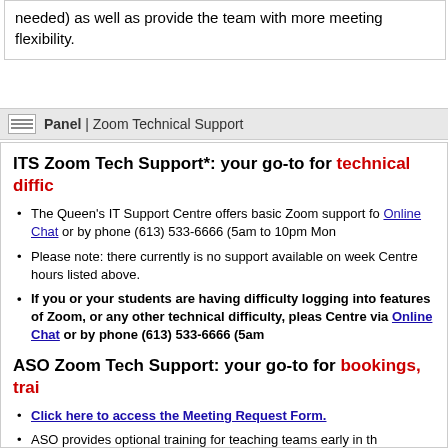needed) as well as provide the team with more meeting flexibility.
Panel | Zoom Technical Support
ITS Zoom Tech Support*: your go-to for technical diffic…
The Queen's IT Support Centre offers basic Zoom support for Online Chat or by phone (613) 533-6666 (5am to 10pm Mon…
Please note: there currently is no support available on week… Centre hours listed above.
If you or your students are having difficulty logging into… features of Zoom, or any other technical difficulty, pleas… Centre via Online Chat or by phone (613) 533-6666 (5am…
ASO Zoom Tech Support: your go-to for bookings, trai…
Click here to access the Meeting Request Form.
ASO provides optional training for teaching teams early in th… comfortable with the technology and able to utilize all the fea… and breakout rooms.